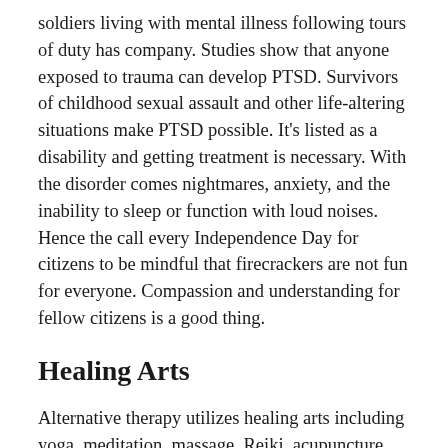soldiers living with mental illness following tours of duty has company. Studies show that anyone exposed to trauma can develop PTSD. Survivors of childhood sexual assault and other life-altering situations make PTSD possible. It's listed as a disability and getting treatment is necessary. With the disorder comes nightmares, anxiety, and the inability to sleep or function with loud noises. Hence the call every Independence Day for citizens to be mindful that firecrackers are not fun for everyone. Compassion and understanding for fellow citizens is a good thing.
Healing Arts
Alternative therapy utilizes healing arts including yoga, meditation, massage, Reiki, acupuncture, healthier diet, and getting out of the house. A community art class, journaling and other writing, all help to tap into creativity and can help calm the spirit. Energy work includes crystals, singing bowls and working with a healing artist on